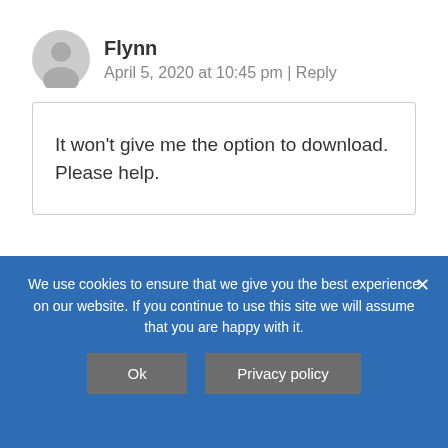Flynn
April 5, 2020 at 10:45 pm | Reply
It won't give me the option to download. Please help.
We use cookies to ensure that we give you the best experience on our website. If you continue to use this site we will assume that you are happy with it.